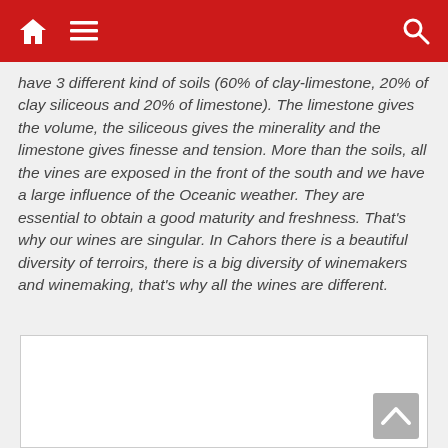[navigation bar with home, menu, and search icons]
have 3 different kind of soils (60% of clay-limestone, 20% of clay siliceous and 20% of limestone). The limestone gives the volume, the siliceous gives the minerality and the limestone gives finesse and tension. More than the soils, all the vines are exposed in the front of the south and we have a large influence of the Oceanic weather. They are essential to obtain a good maturity and freshness. That’s why our wines are singular. In Cahors there is a beautiful diversity of terroirs, there is a big diversity of winemakers and winemaking, that’s why all the wines are different.
[Figure (other): White rectangular box area, partially visible at bottom of page with a back-to-top chevron arrow icon in the bottom right corner.]